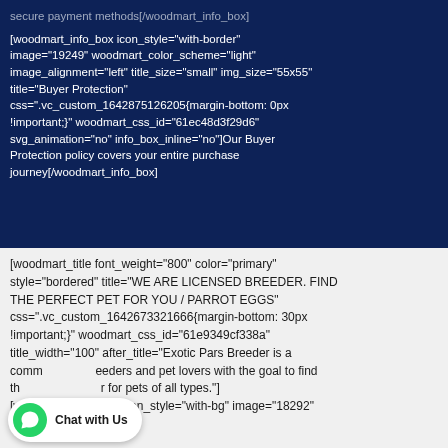secure payment methods[/woodmart_info_box]

[woodmart_info_box icon_style="with-border" image="19249" woodmart_color_scheme="light" image_alignment="left" title_size="small" img_size="55x55" title="Buyer Protection" css=".vc_custom_1642875126205{margin-bottom: 0px !important;}" woodmart_css_id="61ec48d3f29d6" svg_animation="no" info_box_inline="no"]Our Buyer Protection policy covers your entire purchase journey[/woodmart_info_box]
[woodmart_title font_weight="800" color="primary" style="bordered" title="WE ARE LICENSED BREEDER. FIND THE PERFECT PET FOR YOU / PARROT EGGS" css=".vc_custom_1642673321666{margin-bottom: 30px !important;}" woodmart_css_id="61e9349cf338a" title_width="100" after_title="Exotic Pars Breeder is a community of breeders and pet lovers with the goal to find the perfect breeder for pets of all types."]
[woodmart_info_box icon_style="with-bg" image="18292"